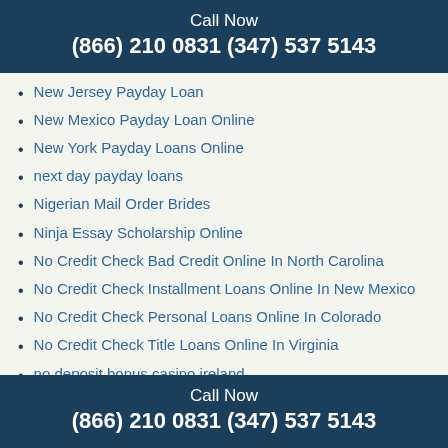Call Now
(866) 210 0831 (347) 537 5143
New Jersey Payday Loan
New Mexico Payday Loan Online
New York Payday Loans Online
next day payday loans
Nigerian Mail Order Brides
Ninja Essay Scholarship Online
No Credit Check Bad Credit Online In North Carolina
No Credit Check Installment Loans Online In New Mexico
No Credit Check Personal Loans Online In Colorado
No Credit Check Title Loans Online In Virginia
no deposit bonus casino ireland
no deposit bonus codes australia 2020
no deposit bonus codes true blue casino
no teletrack payday loans
no verification payday loans
North Dakota Acceptance Installment Loan
Call Now
(866) 210 0831 (347) 537 5143